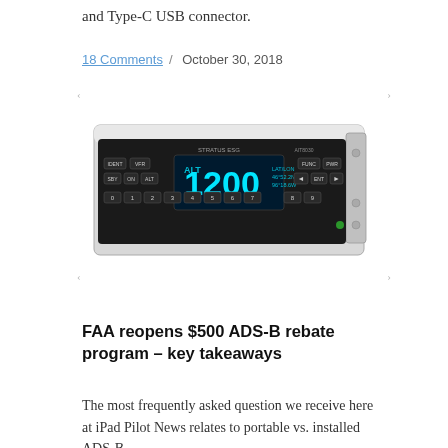and Type-C USB connector.
18 Comments / October 30, 2018
[Figure (photo): Aviation transponder device (Stratus ESG) with a black front panel showing an OLED display reading ALT 1200, LAT/LON coordinates, and numerous function buttons including IDENT, VFR, SBY, ON, ALT, FUNC, PWR, and numeric keys 0-9. The device has a silver/aluminum chassis with rack-mount ears.]
FAA reopens $500 ADS-B rebate program – key takeaways
The most frequently asked question we receive here at iPad Pilot News relates to portable vs. installed ADS-B